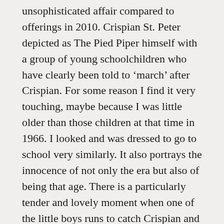unsophisticated affair compared to offerings in 2010. Crispian St. Peter depicted as The Pied Piper himself with a group of young schoolchildren who have clearly been told to 'march' after Crispian. For some reason I find it very touching, maybe because I was little older than those children at that time in 1966. I looked and was dressed to go to school very similarly. It also portrays the innocence of not only the era but also of being that age. There is a particularly tender and lovely moment when one of the little boys runs to catch Crispian and hold his hand to walk with him. Somehow very poignant and touching.
Crispian St. Peters, born Robin Peter Smith, the young man in the video with the chiselled